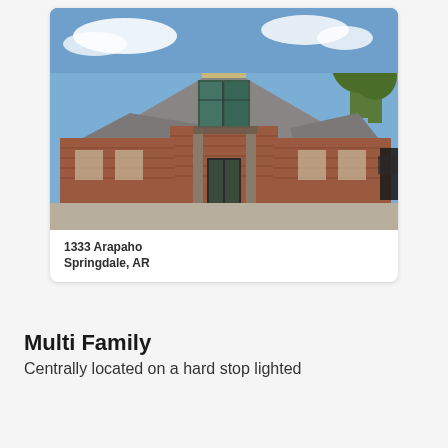[Figure (photo): Exterior photo of a brick commercial building at 1333 Arapaho, Springdale, AR. The building features a peaked roof, large parking lot in front, and blue sky with clouds above.]
1333 Arapaho
Springdale, AR
Multi Family
Centrally located on a hard stop lighted